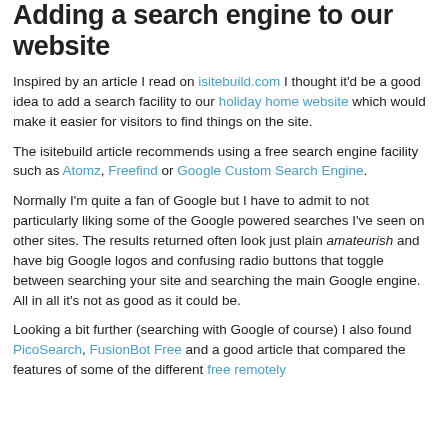Adding a search engine to our website
Inspired by an article I read on isitebuild.com I thought it'd be a good idea to add a search facility to our holiday home website which would make it easier for visitors to find things on the site.
The isitebuild article recommends using a free search engine facility such as Atomz, Freefind or Google Custom Search Engine.
Normally I'm quite a fan of Google but I have to admit to not particularly liking some of the Google powered searches I've seen on other sites. The results returned often look just plain amateurish and have big Google logos and confusing radio buttons that toggle between searching your site and searching the main Google engine. All in all it's not as good as it could be.
Looking a bit further (searching with Google of course) I also found PicoSearch, FusionBot Free and a good article that compared the features of some of the different free remotely